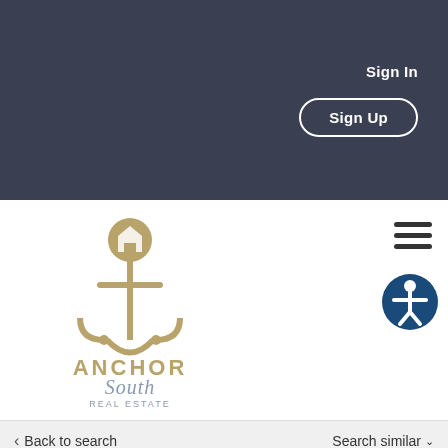Sign In
Sign Up
[Figure (logo): Anchor South Real Estate logo — gold anchor with house icon, text ANCHOR South REAL ESTATE]
[Figure (infographic): Hamburger menu icon (three horizontal lines)]
[Figure (infographic): Accessibility icon — dark blue circle with white person figure]
Back to search
Search similar
[Figure (photo): Aerial drone photo of a land parcel outlined in red, showing green grass field with trees on the edges. Label A-1 visible at bottom.]